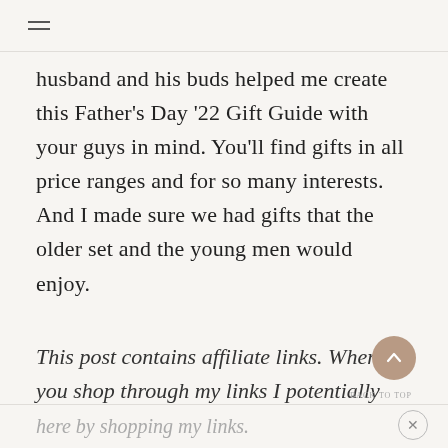≡
husband and his buds helped me create this Father's Day '22 Gift Guide with your guys in mind. You'll find gifts in all price ranges and for so many interests. And I made sure we had gifts that the older set and the young men would enjoy.
This post contains affiliate links. When you shop through my links I potentially earn a commission on your purchases, but at no additional cost to you. Thank you so much for supporting my work
here by shopping my links.